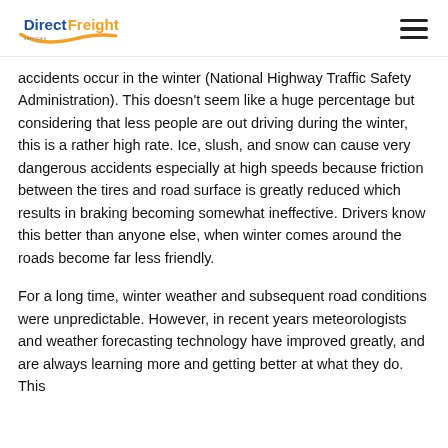DirectFreight
accidents occur in the winter (National Highway Traffic Safety Administration). This doesn't seem like a huge percentage but considering that less people are out driving during the winter, this is a rather high rate. Ice, slush, and snow can cause very dangerous accidents especially at high speeds because friction between the tires and road surface is greatly reduced which results in braking becoming somewhat ineffective. Drivers know this better than anyone else, when winter comes around the roads become far less friendly.
For a long time, winter weather and subsequent road conditions were unpredictable. However, in recent years meteorologists and weather forecasting technology have improved greatly, and are always learning more and getting better at what they do. This